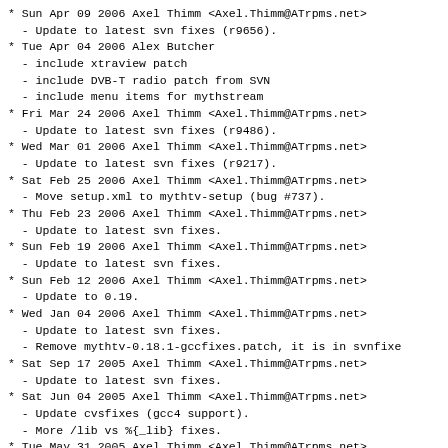* Sun Apr 09 2006 Axel Thimm <Axel.Thimm@ATrpms.net>
  - Update to latest svn fixes (r9656).
* Tue Apr 04 2006 Alex Butcher
  - include xtraview patch
  - include DVB-T radio patch from SVN
  - include menu items for mythstream
* Fri Mar 24 2006 Axel Thimm <Axel.Thimm@ATrpms.net>
  - Update to latest svn fixes (r9486).
* Wed Mar 01 2006 Axel Thimm <Axel.Thimm@ATrpms.net>
  - Update to latest svn fixes (r9217).
* Sat Feb 25 2006 Axel Thimm <Axel.Thimm@ATrpms.net>
  - Move setup.xml to mythtv-setup (bug #737).
* Thu Feb 23 2006 Axel Thimm <Axel.Thimm@ATrpms.net>
  - Update to latest svn fixes.
* Sun Feb 19 2006 Axel Thimm <Axel.Thimm@ATrpms.net>
  - Update to latest svn fixes.
* Sun Feb 12 2006 Axel Thimm <Axel.Thimm@ATrpms.net>
  - Update to 0.19.
* Wed Jan 04 2006 Axel Thimm <Axel.Thimm@ATrpms.net>
  - Update to latest svn fixes.
  - Remove mythtv-0.18.1-gccfixes.patch, it is in svnfixe
* Sat Sep 17 2005 Axel Thimm <Axel.Thimm@ATrpms.net>
  - Update to latest svn fixes.
* Sat Jun 04 2005 Axel Thimm <Axel.Thimm@ATrpms.net>
  - Update cvsfixes (gcc4 support).
  - More /lib vs %{_lib} fixes.
* Tue May 31 2005 Axel Thimm <Axel.Thimm@ATrpms.net>
  - Update cvsfixes, reenable opengl_vsync.
* Wed May 25 2005 Axel Thimm <Axel.Thimm@ATrpms.net>
  - New stable cvs fixes.